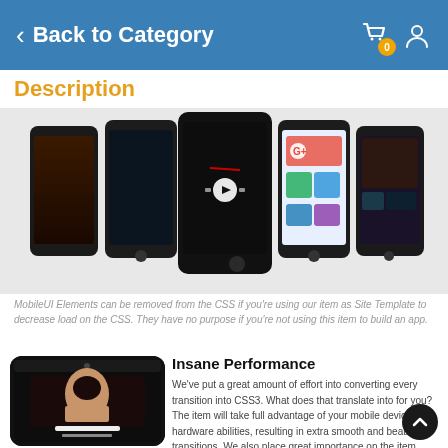Back to Category
Description
[Figure (screenshot): Multiple smartphones displayed in a row showing various mobile app screens including a dark media player and colorful UI screens]
MobileUI Elements can be removed from the CSS if you're using our item as Site Template to decrease load on the CSS. They have no purpose if you're not using this item to build an app.
[Figure (screenshot): Smartphone showing a female model (Karla Black) profile page in a dark-themed mobile app]
Insane Performance
We've put a great amount of effort into converting every transition into CSS3. What does that translate into for you? The item will take full advantage of your mobile devices hardware abilities, resulting in extra smooth and beautiful transitions. We also place great importance on the item compatibility and we never release a product